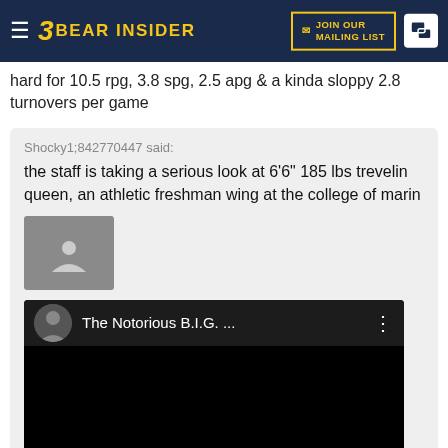Bear Insider — JOIN OUR MAILING LIST
hard for 10.5 rpg, 3.8 spg, 2.5 apg & a kinda sloppy 2.8 turnovers per game
Shocky1;842770447 said: the staff is taking a serious look at 6'6" 185 lbs trevelin queen, an athletic freshman wing at the college of marin
[Figure (screenshot): YouTube embed showing The Notorious B.I.G. video with avatar thumbnail and dark video area]
college of marin head coach scott thom brought his team to